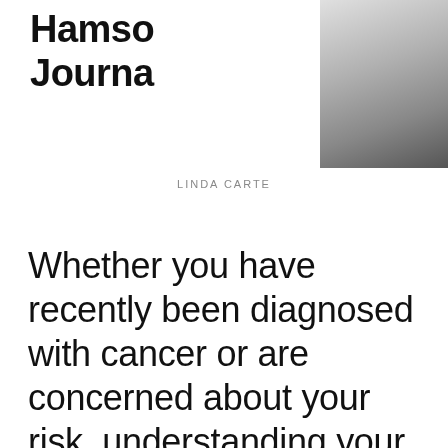Hamso Journal
[Figure (photo): Portrait photo of a person (Linda Carte) wearing a black jacket and white top with a necklace, partially cropped at top of page]
LINDA CARTE
Whether you have recently been diagnosed with cancer or are concerned about your risk, understanding your own family history is important. However, this requires a basic understanding of how genes work.